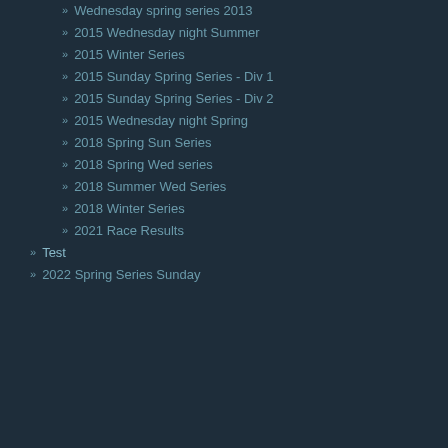Wednesday spring series 2013
2015 Wednesday night Summer
2015 Winter Series
2015 Sunday Spring Series - Div 1
2015 Sunday Spring Series - Div 2
2015 Wednesday night Spring
2018 Spring Sun Series
2018 Spring Wed series
2018 Summer Wed Series
2018 Winter Series
2021 Race Results
Test
2022 Spring Series Sunday